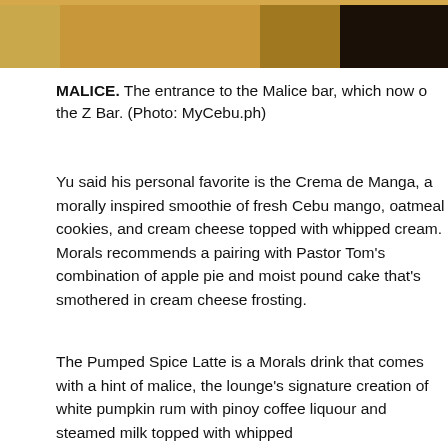[Figure (photo): Top portion of an image showing the entrance to the Malice bar, with brown/golden tones and dark edges visible at the top of the page.]
MALICE. The entrance to the Malice bar, which now o the Z Bar. (Photo: MyCebu.ph)
Yu said his personal favorite is the Crema de Manga, a morally inspired smoothie of fresh Cebu mango, oatmeal cookies, and cream cheese topped with whipped cream. Morals recommends a pairing with Pastor Tom's combination of apple pie and moist pound cake that's smothered in cream cheese frosting.
The Pumped Spice Latte is a Morals drink that comes with a hint of malice, the lounge's signature creation of white pumpkin rum with pinoy coffee liquour and steamed milk topped with whipped